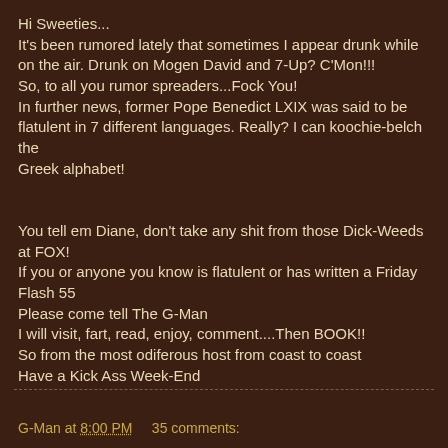Hi Sweeties...
It's been rumored lately that sometimes I appear drunk while on the air. Drunk on Mogen David and 7-Up? C'Mon!!!
So, to all you rumor spreaders...Fock You!
In further news, former Pope Benedict LXIX was said to be flatulent in 7 different languages. Really? I can koochie-belch the
Greek alphabet!


You tell em Diane, don't take any shit from those Dick-Weeds at FOX!
If you or anyone you know is flatulent or has written a Friday Flash 55
Please come tell The G-Man
I will visit, fart, read, enjoy, comment....Then BOOK!!
So from the most odiferous host from coast to coast
Have a Kick Ass Week-End
G-Man at 8:00 PM    35 comments: